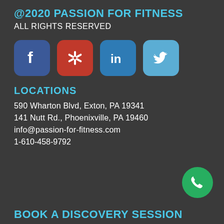@2020 PASSION FOR FITNESS
ALL RIGHTS RESERVED
[Figure (other): Social media icons: Facebook (blue), Yelp (red), LinkedIn (blue), Twitter (light blue)]
LOCATIONS
590 Wharton Blvd, Exton, PA 19341
141 Nutt Rd., Phoenixville, PA 19460
info@passion-for-fitness.com
1-610-458-9792
[Figure (other): Green circular phone call button with white phone handset icon]
BOOK A DISCOVERY SESSION